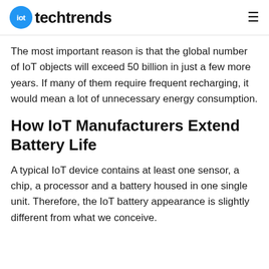iot techtrends
The most important reason is that the global number of IoT objects will exceed 50 billion in just a few more years. If many of them require frequent recharging, it would mean a lot of unnecessary energy consumption.
How IoT Manufacturers Extend Battery Life
A typical IoT device contains at least one sensor, a chip, a processor and a battery housed in one single unit. Therefore, the IoT battery appearance is slightly different from what we conceive.